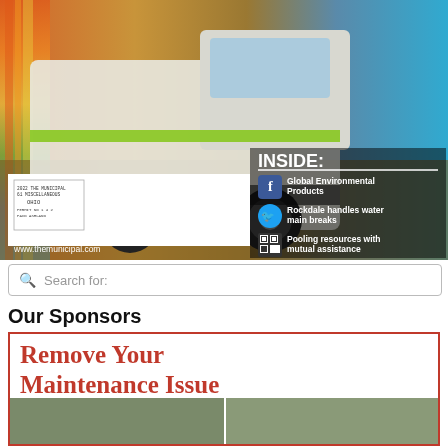[Figure (photo): Magazine cover showing a street sweeper truck with colorful speed-blur background. Inside panel lists: Global Environmental Products, Rockdale handles water main breaks, Pooling resources with mutual assistance. Website: www.themunicipal.com]
Search for:
Our Sponsors
[Figure (photo): Advertisement with red text 'Remove Your Maintenance Issue' with two photos of metal storage buildings/sheds below]